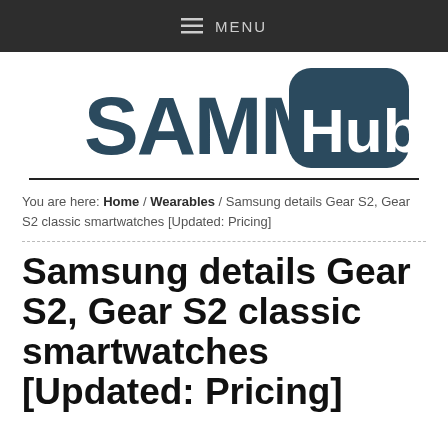MENU
[Figure (logo): SammyHub logo — 'SAMMY' in dark teal sans-serif text and 'Hub' in white text on a dark teal rounded square badge]
You are here: Home / Wearables / Samsung details Gear S2, Gear S2 classic smartwatches [Updated: Pricing]
Samsung details Gear S2, Gear S2 classic smartwatches [Updated: Pricing]